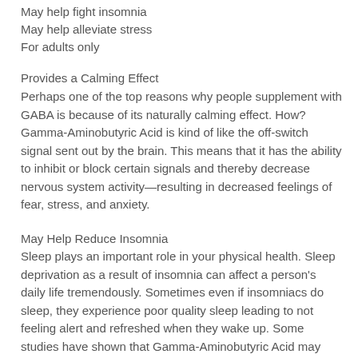May help fight insomnia
May help alleviate stress
For adults only
Provides a Calming Effect
Perhaps one of the top reasons why people supplement with GABA is because of its naturally calming effect. How? Gamma-Aminobutyric Acid is kind of like the off-switch signal sent out by the brain. This means that it has the ability to inhibit or block certain signals and thereby decrease nervous system activity—resulting in decreased feelings of fear, stress, and anxiety.
May Help Reduce Insomnia
Sleep plays an important role in your physical health. Sleep deprivation as a result of insomnia can affect a person's daily life tremendously. Sometimes even if insomniacs do sleep, they experience poor quality sleep leading to not feeling alert and refreshed when they wake up. Some studies have shown that Gamma-Aminobutyric Acid may help people to fall asleep faster with one does and also may help in improving the quality of sleep after at least 4-week of continued usage.
Can Help Maintain Healthy Blood Pressure
It is not yet known what the mode of action is on how GABA supplements help in controlling blood pressure levels. However, in 2003 a study was conducted where patients were given GABA